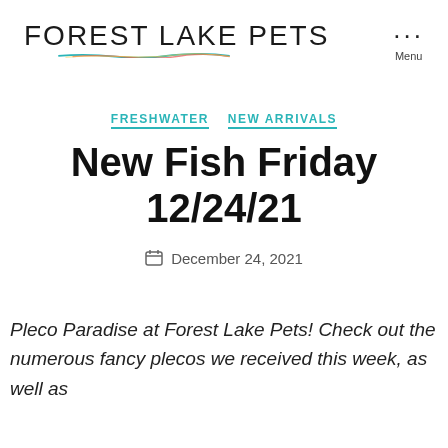FOREST LAKE PETS
FRESHWATER  NEW ARRIVALS
New Fish Friday 12/24/21
December 24, 2021
Pleco Paradise at Forest Lake Pets! Check out the numerous fancy plecos we received this week, as well as